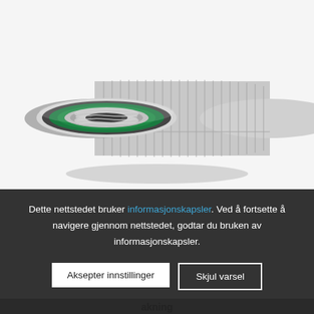[Figure (photo): Close-up photograph of a knurled metal fitting/coupling with a green rubber O-ring seal and threaded center, shot on white background]
Dette nettstedet bruker informasjonskapsler. Ved å fortsette å navigere gjennom nettstedet, godtar du bruken av informasjonskapsler.
Aksepter innstillinger
Skjul varsel
akning